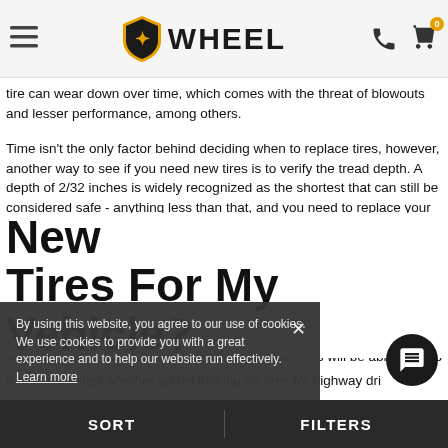WHEEL (logo with shield icon, hamburger menu, phone icon, cart icon with 0)
tire can wear down over time, which comes with the threat of blowouts and lesser performance, among others.
Time isn't the only factor behind deciding when to replace tires, however, another way to see if you need new tires is to verify the tread depth. A depth of 2/32 inches is widely recognized as the shortest that can still be considered safe - anything less than that, and you need to replace your tires ASAP to prevent baldness and diminished control or grip.
A good way to check your tread depth without using a ruler is to turn a penny so that Lincoln's hat faces down and place it between the treads. If you can see Abe's hat, you need some new tires pronto.
Keep in mind that this extends to winter tires as well - you may even need to replace them sooner to ensure that your tires will be able to keep a grip on slick, icy, and snowy roads.
By using this website, you agree to our use of cookies. We use cookies to provide you with a great experience and to help our website run effectively. Learn more
New Tires For My Vehicle?
It doesn't matter whether you're looking for tires for highway dri...
SORT   FILTERS